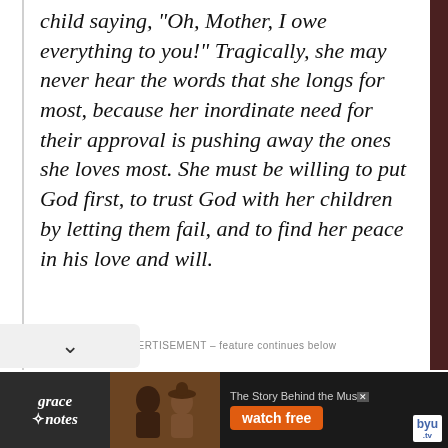child saying, “Oh, Mother, I owe everything to you!” Tragically, she may never hear the words that she longs for most, because her inordinate need for their approval is pushing away the ones she loves most. She must be willing to put God first, to trust God with her children by letting them fail, and to find her peace in his love and will.
ADVERTISEMENT – feature continues below
[Figure (infographic): Advertisement banner for 'Grace Notes' on BYU TV showing two singers and the text 'The Story Behind the Music' with a 'watch free' button and BYU TV logo.]